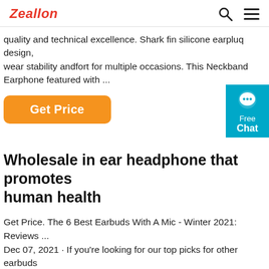Zeallon
quality and technical excellence. Shark fin silicone earpluq design, wear stability andfort for multiple occasions. This Neckband Earphone featured with ...
[Figure (other): Orange 'Get Price' button and a blue 'Free Chat' widget on the right]
Wholesale in ear headphone that promotes human health
Get Price. The 6 Best Earbuds With A Mic - Winter 2021: Reviews ... Dec 07, 2021 · If you're looking for our top picks for other earbuds and in-ear headphones, check our rmendations for the best earbuds and in-ears, the best truly wireless earbuds, and the best Bluetooth headsets for phone calls. Best Earphones With A Mic: Sony WI ...